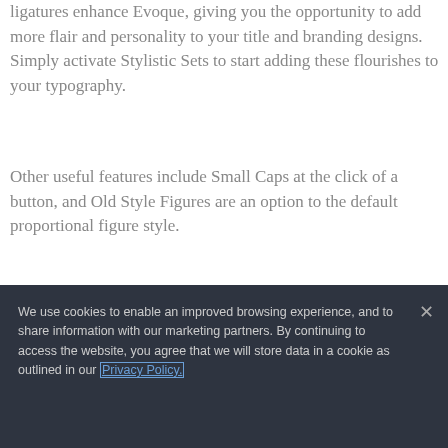ligatures enhance Evoque, giving you the opportunity to add more flair and personality to your title and branding designs. Simply activate Stylistic Sets to start adding these flourishes to your typography.
Other useful features include Small Caps at the click of a button, and Old Style Figures are an option to the default proportional figure style.
We use cookies to enable an improved browsing experience, and to share information with our marketing partners. By continuing to access the website, you agree that we will store data in a cookie as outlined in our Privacy Policy.